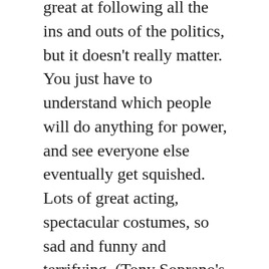great at following all the ins and outs of the politics, but it doesn't really matter. You just have to understand which people will do anything for power, and see everyone else eventually get squished. Lots of great acting, spectacular costumes, so sad and funny and terrifying. (Tony Soprano's mother Livia is clearly a nod to the uber-ambitious wife of emperor Augustus.) I recall it has some very grim and gory stuff further on with Caligula, so viewer beware.
We're watching this series on disc, but you can stream it in a few places (nowhere free currently, unfortunately).
And, for something totally different, we're